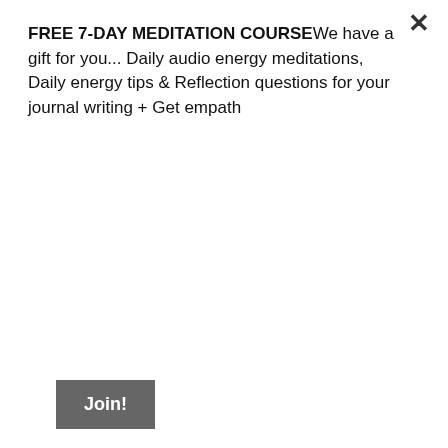FREE 7-DAY MEDITATION COURSEWe have a gift for you... Daily audio energy meditations, Daily energy tips & Reflection questions for your journal writing + Get empath
[Figure (other): A button labeled 'Join!' with dark gray background and white bold text]
[Figure (photo): Aerial/overhead view of multiple people lying together around a central rock, showing arms and legs arranged in a circle. One person wearing red, another in blue.]
GROUNDING TIPS & HEALTHY BOUNDARIES – 5 SIGNS THAT YOU